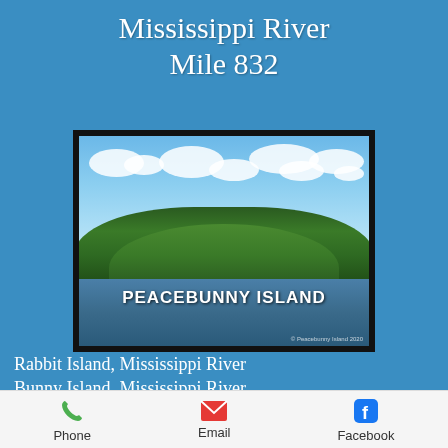Mississippi River Mile 832
[Figure (photo): Photo of Peacebunny Island on the Mississippi River, showing a tree-covered island with blue sky and clouds above and river water in the foreground. Text overlay reads PEACEBUNNY ISLAND.]
Rabbit Island, Mississippi River
Bunny Island, Mississippi River
Island of bunnies Minnesota
Island of rabbits Minnesota
Phone   Email   Facebook